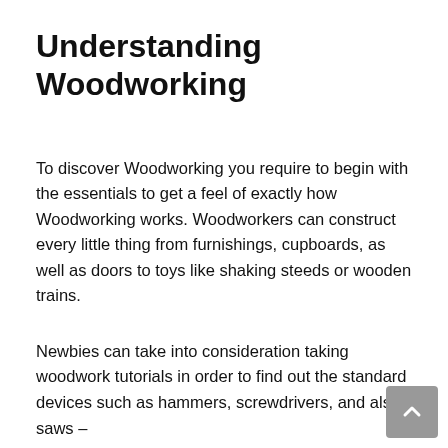Understanding Woodworking
To discover Woodworking you require to begin with the essentials to get a feel of exactly how Woodworking works. Woodworkers can construct every little thing from furnishings, cupboards, as well as doors to toys like shaking steeds or wooden trains.
Newbies can take into consideration taking woodwork tutorials in order to find out the standard devices such as hammers, screwdrivers, and also saws –